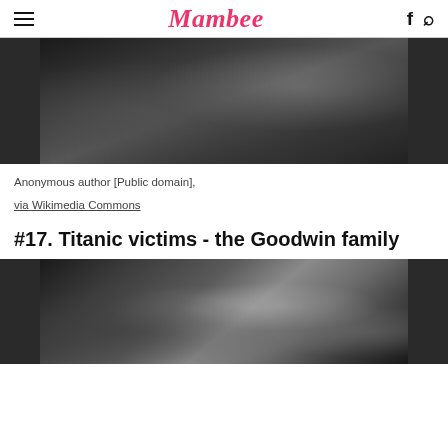Mambee
[Figure (photo): Black and white historical photograph showing close-up of people's torsos and hands, Victorian-era clothing with fringe/feather details visible]
Anonymous author [Public domain],
via Wikimedia Commons
#17. Titanic victims - the Goodwin family
[Figure (photo): Black and white family portrait photograph showing the Goodwin family - a group of people including adults and children in Edwardian-era clothing]